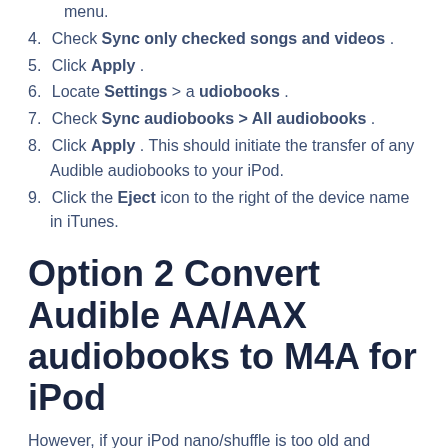menu.
4. Check Sync only checked songs and videos .
5. Click Apply .
6. Locate Settings > a udiobooks .
7. Check Sync audiobooks > All audiobooks .
8. Click Apply . This should initiate the transfer of any Audible audiobooks to your iPod.
9. Click the Eject icon to the right of the device name in iTunes.
Option 2 Convert Audible AA/AAX audiobooks to M4A for iPod
However, if your iPod nano/shuffle is too old and doesn't support aax file, the above method is not suitable. iPod nano 4th generation and earlier only